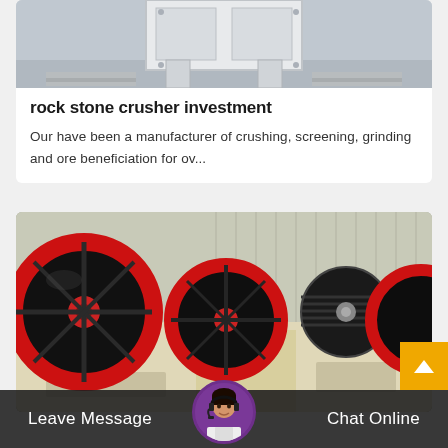[Figure (photo): Top portion of a white rock/stone crusher machine with frame and pallets on warehouse floor]
rock stone crusher investment
Our have been a manufacturer of crushing, screening, grinding and ore beneficiation for ov...
[Figure (photo): Jaw crusher machines with large black and red flywheel discs, cream-colored bodies, industrial setting]
Leave Message
Chat Online